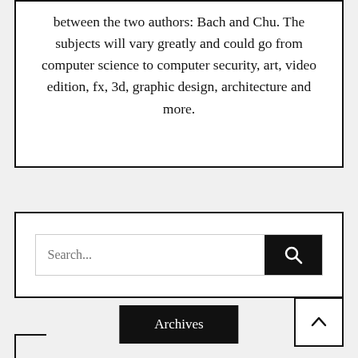between the two authors: Bach and Chu. The subjects will vary greatly and could go from computer science to computer security, art, video edition, fx, 3d, graphic design, architecture and more.
[Figure (screenshot): Search bar widget with text input showing placeholder 'Search...' and a black search button with magnifying glass icon]
Archives